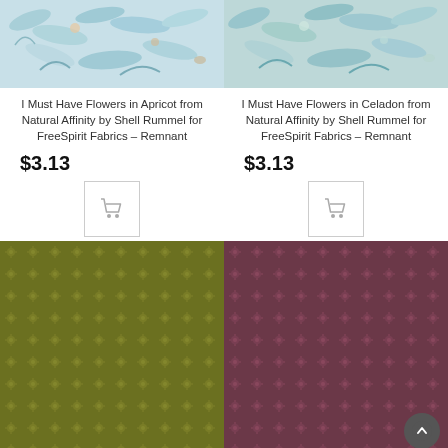[Figure (photo): Floral fabric pattern in apricot/light blue watercolor style]
I Must Have Flowers in Apricot from Natural Affinity by Shell Rummel for FreeSpirit Fabrics – Remnant
$3.13
[Figure (illustration): Shopping cart icon button]
[Figure (photo): Floral fabric pattern in celadon/light blue watercolor style]
I Must Have Flowers in Celadon from Natural Affinity by Shell Rummel for FreeSpirit Fabrics – Remnant
$3.13
[Figure (illustration): Shopping cart icon button]
[Figure (photo): Olive green fabric with small repeated dot/diamond pattern]
[Figure (photo): Dark mauve/purple fabric with small repeated dot/diamond pattern]